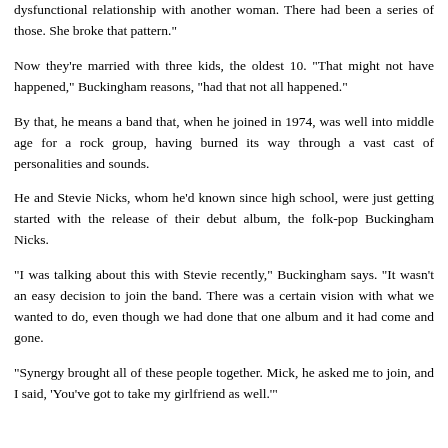dysfunctional relationship with another woman. There had been a series of those. She broke that pattern."
Now they're married with three kids, the oldest 10. "That might not have happened," Buckingham reasons, "had that not all happened."
By that, he means a band that, when he joined in 1974, was well into middle age for a rock group, having burned its way through a vast cast of personalities and sounds.
He and Stevie Nicks, whom he'd known since high school, were just getting started with the release of their debut album, the folk-pop Buckingham Nicks.
"I was talking about this with Stevie recently," Buckingham says. "It wasn't an easy decision to join the band. There was a certain vision with what we wanted to do, even though we had done that one album and it had come and gone.
"Synergy brought all of these people together. Mick, he asked me to join, and I said, 'You've got to take my girlfriend as well.'"